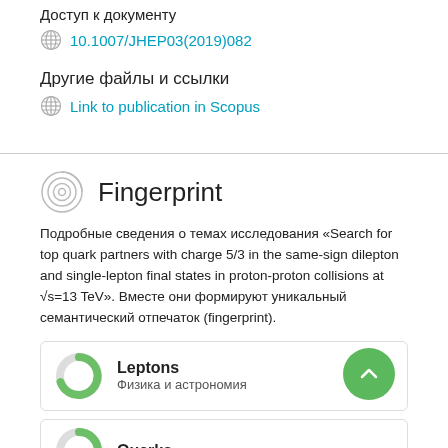Доступ к документу
10.1007/JHEP03(2019)082
Другие файлы и ссылки
Link to publication in Scopus
Fingerprint
Подробные сведения о темах исследования «Search for top quark partners with charge 5/3 in the same-sign dilepton and single-lepton final states in proton-proton collisions at √s=13 TeV». Вместе они формируют уникальный семантический отпечаток (fingerprint).
Leptons
Физика и астрономия
Quarks